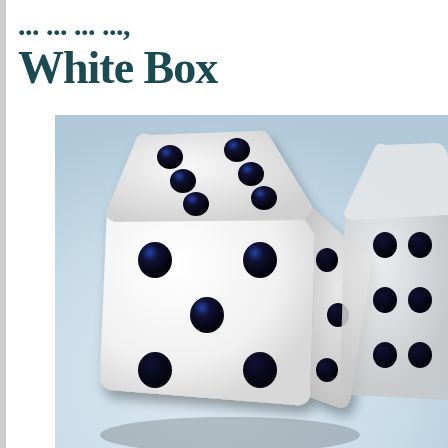White Box
[Figure (photo): Close-up photograph of two white dice with black pips on a light blue-white surface. The foreground die shows the 5-face on the front, 6-face on top, and 3-face on the right side. A second die is partially visible in the background to the right.]